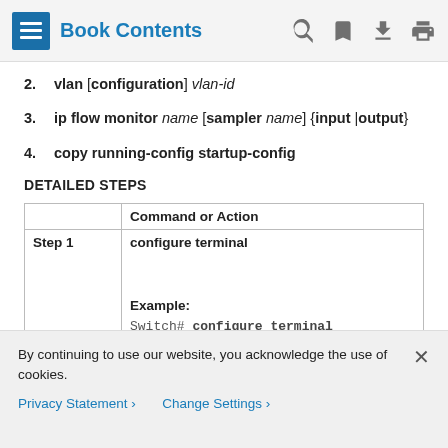Book Contents
2. vlan [configuration] vlan-id
3. ip flow monitor name [sampler name] {input |output}
4. copy running-config startup-config
DETAILED STEPS
|  | Command or Action |
| --- | --- |
| Step 1 | configure terminal

Example:

Switch# configure terminal |
By continuing to use our website, you acknowledge the use of cookies.
Privacy Statement > Change Settings >